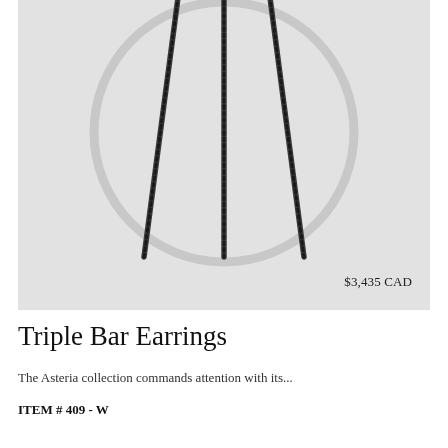[Figure (photo): Product photo of Triple Bar Earrings on a light gray background. A large silver circular hoop earring with three dark beaded/diamond bar accents running diagonally from the top center to the bottom edge. Price label '$3,435 CAD' visible in the lower right of the image.]
Triple Bar Earrings
The Asteria collection commands attention with its...
ITEM # 409 - W